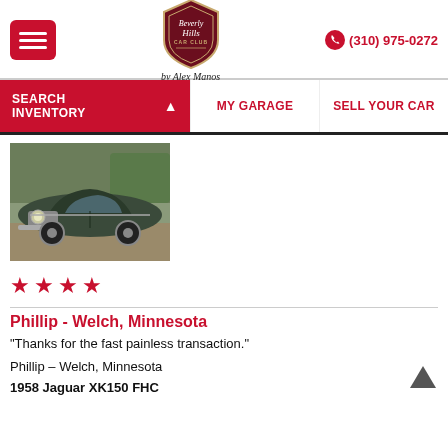[Figure (logo): Beverly Hills Car Club logo - shield shape with script 'by Alex Manos' below]
(310) 975-0272
SEARCH INVENTORY
MY GARAGE
SELL YOUR CAR
[Figure (photo): Vintage dark green Mercedes-Benz coupe parked outdoors, front 3/4 view]
★ ★ ★ ★
Phillip - Welch, Minnesota
“Thanks for the fast painless transaction.”
Phillip – Welch, Minnesota
1958 Jaguar XK150 FHC